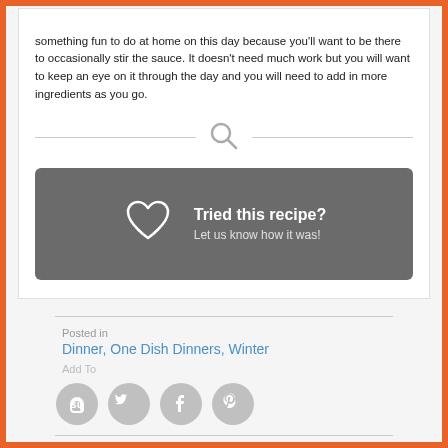something fun to do at home on this day because you'll want to be there to occasionally stir the sauce. It doesn't need much work but you will want to keep an eye on it through the day and you will need to add in more ingredients as you go.
[Figure (other): Search icon divider — a magnifying glass icon between two horizontal lines]
[Figure (infographic): Dark gray box with heart outline icon and text 'Tried this recipe? Let us know how it was!']
Posted in
Dinner, One Dish Dinners, Winter
Add To
[Figure (other): Four social sharing icon circles: StumbleUpon, Twitter, Facebook, Pinterest]